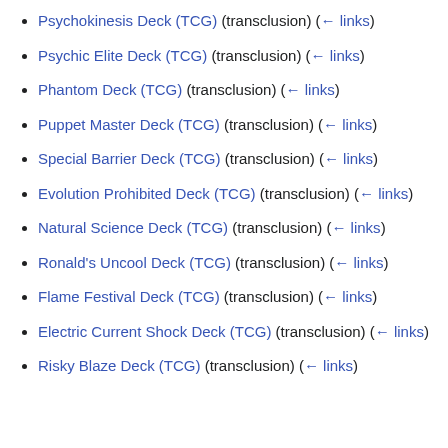Psychokinesis Deck (TCG) (transclusion) (← links)
Psychic Elite Deck (TCG) (transclusion) (← links)
Phantom Deck (TCG) (transclusion) (← links)
Puppet Master Deck (TCG) (transclusion) (← links)
Special Barrier Deck (TCG) (transclusion) (← links)
Evolution Prohibited Deck (TCG) (transclusion) (← links)
Natural Science Deck (TCG) (transclusion) (← links)
Ronald's Uncool Deck (TCG) (transclusion) (← links)
Flame Festival Deck (TCG) (transclusion) (← links)
Electric Current Shock Deck (TCG) (transclusion) (← links)
Risky Blaze Deck (TCG) (transclusion) (← links)